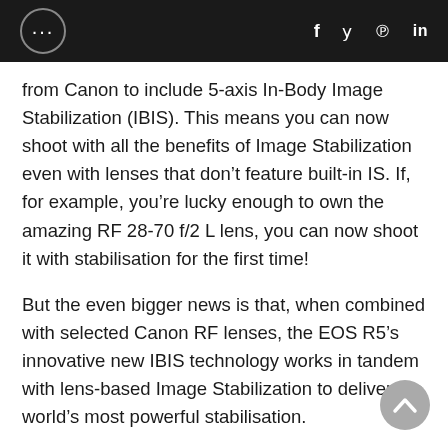... f y p in
from Canon to include 5-axis In-Body Image Stabilization (IBIS). This means you can now shoot with all the benefits of Image Stabilization even with lenses that don’t feature built-in IS. If, for example, you’re lucky enough to own the amazing RF 28-70 f/2 L lens, you can now shoot it with stabilisation for the first time!
But the even bigger news is that, when combined with selected Canon RF lenses, the EOS R5’s innovative new IBIS technology works in tandem with lens-based Image Stabilization to deliver the world’s most powerful stabilisation.